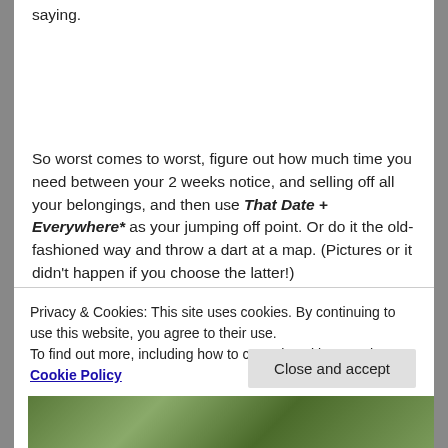saying.
So worst comes to worst, figure out how much time you need between your 2 weeks notice, and selling off all your belongings, and then use That Date + Everywhere* as your jumping off point. Or do it the old-fashioned way and throw a dart at a map. (Pictures or it didn’t happen if you choose the latter!)
**Magical things have happened every time I’ve
Privacy & Cookies: This site uses cookies. By continuing to use this website, you agree to their use.
To find out more, including how to control cookies, see here: Cookie Policy
Close and accept